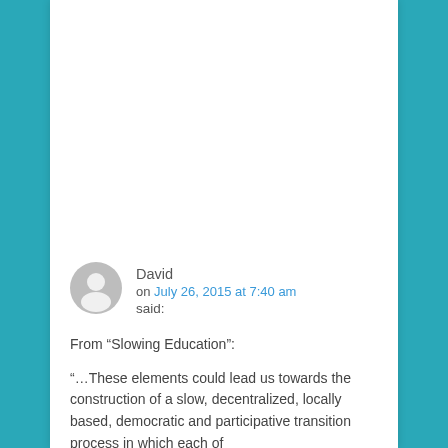They have federal Labor Sec Perez speaking to help the states with their federally desired roles so thy can all continue the polyphonic progressive coordination.
Reply ↓
David on July 26, 2015 at 7:40 am said:
From "Slowing Education":
“…These elements could lead us towards the construction of a slow, decentralized, locally based, democratic and participative transition process in which each of